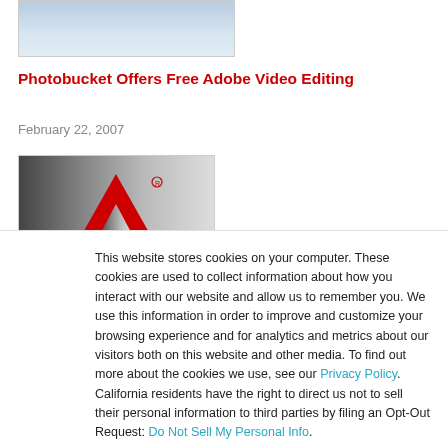[Figure (photo): Partial cropped photo at top, showing light blue sky/landscape tones]
Photobucket Offers Free Adobe Video Editing
February 22, 2007
[Figure (logo): Adobe logo — red 'A' mark on gray gradient background]
This website stores cookies on your computer. These cookies are used to collect information about how you interact with our website and allow us to remember you. We use this information in order to improve and customize your browsing experience and for analytics and metrics about our visitors both on this website and other media. To find out more about the cookies we use, see our Privacy Policy. California residents have the right to direct us not to sell their personal information to third parties by filing an Opt-Out Request: Do Not Sell My Personal Info.